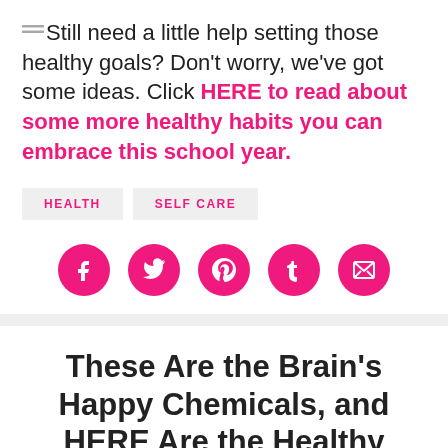Still need a little help setting those healthy goals? Don't worry, we've got some ideas. Click HERE to read about some more healthy habits you can embrace this school year.
HEALTH
SELF CARE
[Figure (infographic): Social share buttons: Facebook, Twitter, Pinterest, Tumblr, Email — all pink circles with white icons]
These Are the Brain's Happy Chemicals, and HERE Are the Healthy Ways to Release